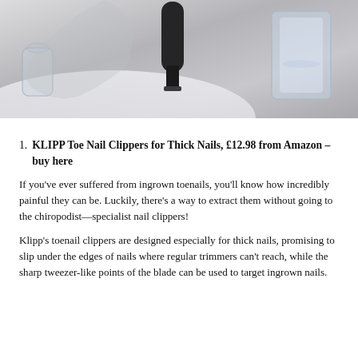[Figure (photo): Close-up photo of nail clippers / grooming tool, a glass jar with water, and a white cloth on a light background]
KLIPP Toe Nail Clippers for Thick Nails, £12.98 from Amazon – buy here
If you've ever suffered from ingrown toenails, you'll know how incredibly painful they can be. Luckily, there's a way to extract them without going to the chiropodist—specialist nail clippers!
Klipp's toenail clippers are designed especially for thick nails, promising to slip under the edges of nails where regular trimmers can't reach, while the sharp tweezer-like points of the blade can be used to target ingrown nails.